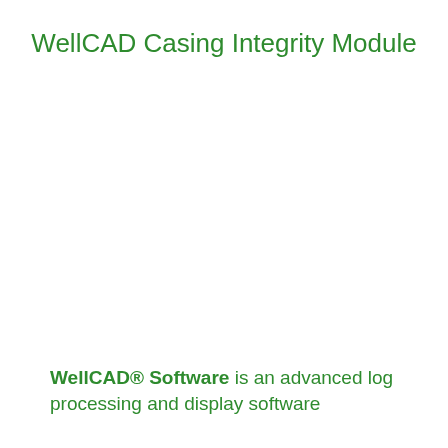WellCAD Casing Integrity Module
WellCAD® Software is an advanced log processing and display software